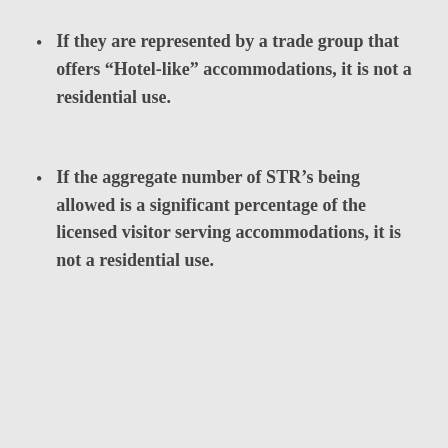If they are represented by a trade group that offers “Hotel-like” accommodations, it is not a residential use.
If the aggregate number of STR’s being allowed is a significant percentage of the licensed visitor serving accommodations, it is not a residential use.